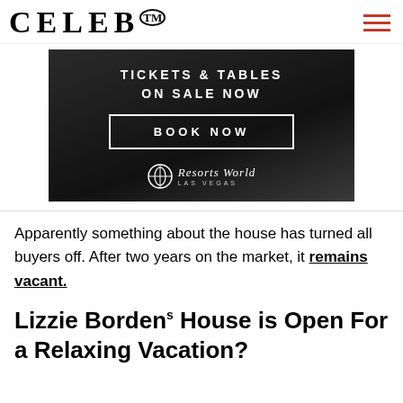CELEB™
[Figure (other): Advertisement banner for Resorts World Las Vegas. Dark gradient background with white text reading 'TICKETS & TABLES ON SALE NOW', a 'BOOK NOW' button outlined in white, and the Resorts World Las Vegas logo at the bottom.]
Apparently something about the house has turned all buyers off. After two years on the market, it remains vacant.
Lizzie Borden's House is Open For a Relaxing Vacation?